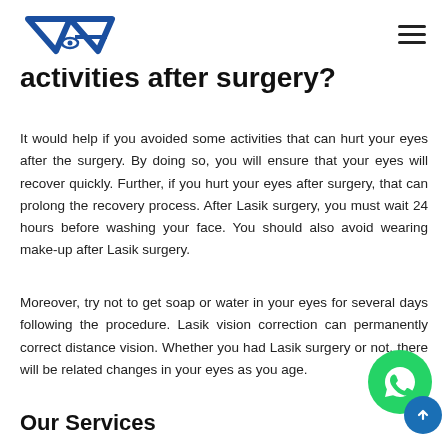VA logo and navigation hamburger menu
activities after surgery?
It would help if you avoided some activities that can hurt your eyes after the surgery. By doing so, you will ensure that your eyes will recover quickly. Further, if you hurt your eyes after surgery, that can prolong the recovery process. After Lasik surgery, you must wait 24 hours before washing your face. You should also avoid wearing make-up after Lasik surgery.
Moreover, try not to get soap or water in your eyes for several days following the procedure. Lasik vision correction can permanently correct distance vision. Whether you had Lasik surgery or not, there will be related changes in your eyes as you age.
Our Services